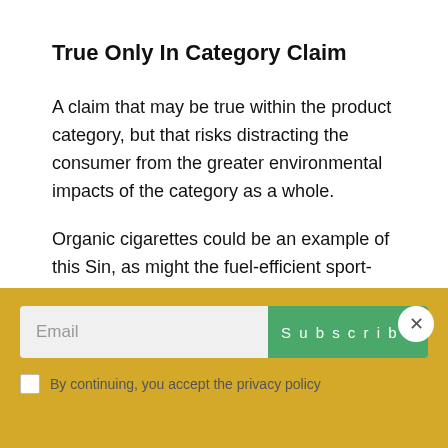True Only In Category Claim
A claim that may be true within the product category, but that risks distracting the consumer from the greater environmental impacts of the category as a whole.
Organic cigarettes could be an example of this Sin, as might the fuel-efficient sport-utility vehicle.